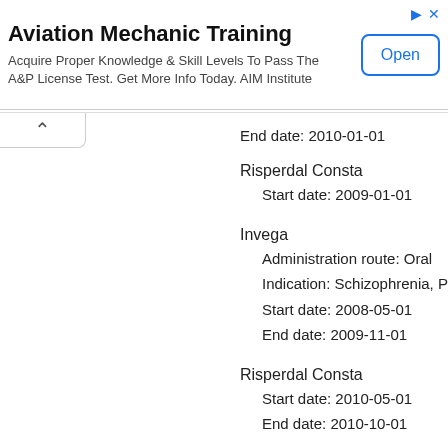[Figure (screenshot): Advertisement banner for Aviation Mechanic Training by AIM Institute with an Open button]
End date: 2010-01-01
Risperdal Consta
  Start date: 2009-01-01
Invega
  Administration route: Oral
  Indication: Schizophrenia, Paranoid Type
  Start date: 2008-05-01
  End date: 2009-11-01
Risperdal Consta
  Start date: 2010-05-01
  End date: 2010-10-01
Possible Invega side effects in m...
Reported by a consumer/non-health profess...